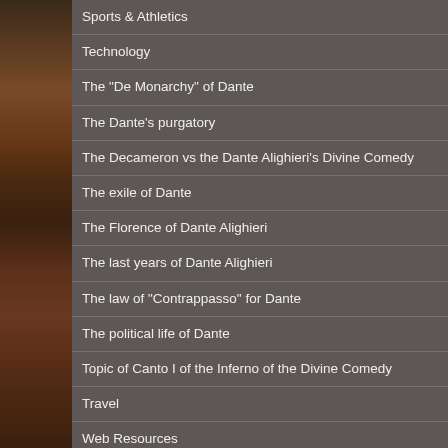Sports & Athletics
Technology
The "De Monarchy" of Dante
The Dante's purgatory
The Decameron vs the Dante Alighieri's Divine Comedy
The exile of Dante
The Florence of Dante Alighieri
The last years of Dante Alighieri
The law of "Contrappasso" for Dante
The political life of Dante
Topic of Canto I of the Inferno of the Divine Comedy
Travel
Web Resources